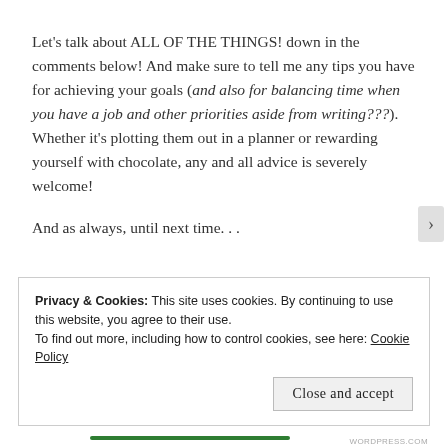Let's talk about ALL OF THE THINGS! down in the comments below! And make sure to tell me any tips you have for achieving your goals (and also for balancing time when you have a job and other priorities aside from writing???). Whether it's plotting them out in a planner or rewarding yourself with chocolate, any and all advice is severely welcome!

And as always, until next time. . .
Privacy & Cookies: This site uses cookies. By continuing to use this website, you agree to their use.
To find out more, including how to control cookies, see here: Cookie Policy